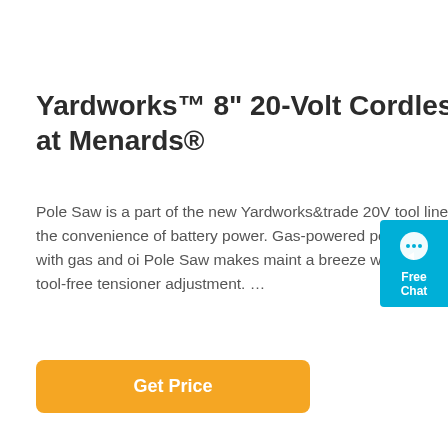Yardworks™ 8" 20-Volt Cordless Pole Saw at Menards®
Pole Saw is a part of the new Yardworks&trade 20V tool line! Get the power of gas with the convenience of battery power. Gas-powered pol saws can be a mess to maintain with gas and oi Pole Saw makes maint a breeze with an automatic oiling system and a tool-free tensioner adjustment. …
[Figure (other): Blue chat widget button with speech bubble icon and 'Free Chat' label]